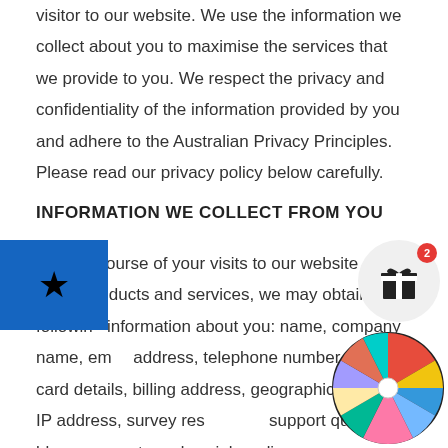visitor to our website. We use the information we collect about you to maximise the services that we provide to you. We respect the privacy and confidentiality of the information provided by you and adhere to the Australian Privacy Principles. Please read our privacy policy below carefully.
INFORMATION WE COLLECT FROM YOU
In the course of your visits to our website or use of our products and services, we may obtain the following information about you: name, company name, email address, telephone number, credit card details, billing address, geographic location, IP address, survey responses, support queries, blog comments and social media interactions (together 'Personal Data').
[Figure (other): Blue square button with a star icon, used as a UI widget overlay]
[Figure (other): Gift box icon with red notification badge showing '2', circular white background]
[Figure (other): Colorful spinning wheel / prize wheel overlay widget in the bottom-right corner]